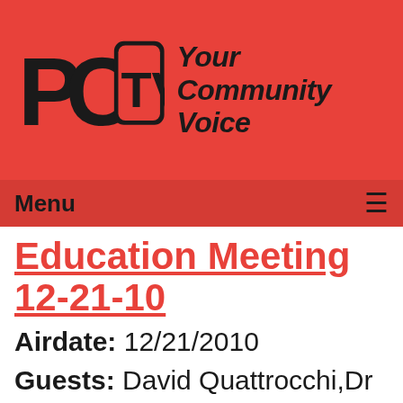[Figure (logo): PCTV logo with text 'Your Community Voice' on red background]
Menu  ≡
Education Meeting 12-21-10
Airdate: 12/21/2010
Guests: David Quattrocchi,Dr Robert Hendrickson, Nancy Neumeister